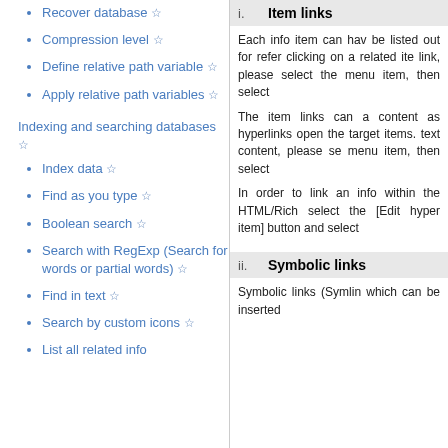Recover database ☆
Compression level ☆
Define relative path variable ☆
Apply relative path variables ☆
Indexing and searching databases ☆
Index data ☆
Find as you type ☆
Boolean search ☆
Search with RegExp (Search for words or partial words) ☆
Find in text ☆
Search by custom icons ☆
List all related info
i. Item links
Each info item can hav... be listed out for refer... clicking on a related ite... link, please select the... menu item, then select...
The item links can a... content as hyperlinks... open the target items.... text content, please se... menu item, then select...
In order to link an info... within the HTML/Rich... select the [Edit hyper... item] button and select...
ii. Symbolic links
Symbolic links (Symlin... which can be inserted...